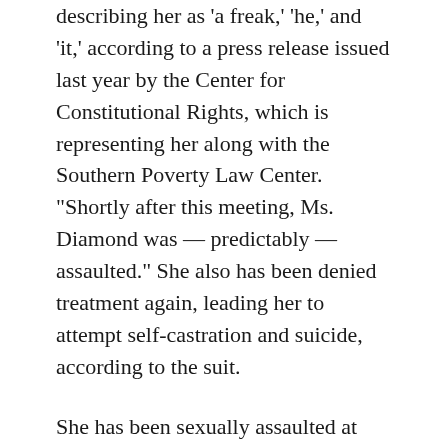describing her as 'a freak,' 'he,' and 'it,' according to a press release issued last year by the Center for Constitutional Rights, which is representing her along with the Southern Poverty Law Center. "Shortly after this meeting, Ms. Diamond was — predictably — assaulted." She also has been denied treatment again, leading her to attempt self-castration and suicide, according to the suit.
She has been sexually assaulted at least two more times since the suit was filed last November, the Center for Constitutional Rights reports now, and the Georgia DOC has refused to move her out of the dorm where she has been victimized. It has also continued to deny her medical care, the organization says, and has retaliated against her by trying to diminish her chances of early release on parole.
Prison officials have marked Diamond's record with